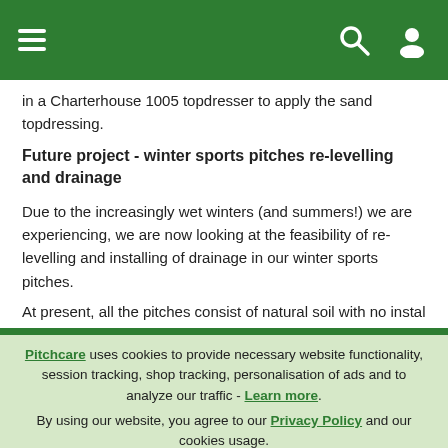[Navigation header with hamburger menu, search icon, and user icon on green background]
in a Charterhouse 1005 topdresser to apply the sand topdressing.
Future project - winter sports pitches re-levelling and drainage
Due to the increasingly wet winters (and summers!) we are experiencing, we are now looking at the feasibility of re-levelling and installing of drainage in our winter sports pitches.
At present, all the pitches consist of natural soil with no installed
Pitchcare uses cookies to provide necessary website functionality, session tracking, shop tracking, personalisation of ads and to analyze our traffic - Learn more. By using our website, you agree to our Privacy Policy and our cookies usage.
Accept